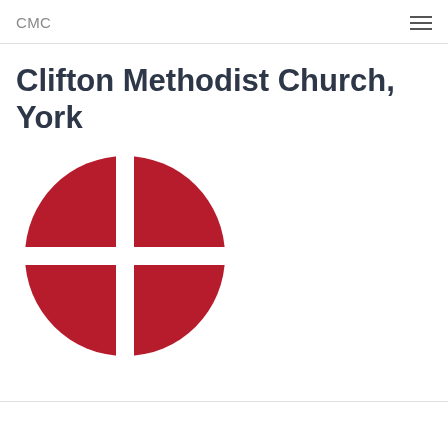CMC
Clifton Methodist Church, York
[Figure (logo): Methodist Church logo: a red circle divided into four quadrants by a white cross, creating four red arc-shaped segments on a white background.]